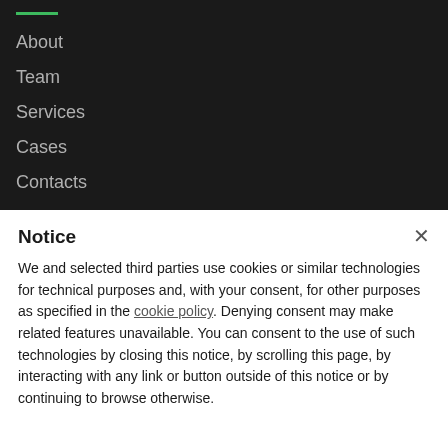About
Team
Services
Cases
Contacts
Notice
We and selected third parties use cookies or similar technologies for technical purposes and, with your consent, for other purposes as specified in the cookie policy. Denying consent may make related features unavailable. You can consent to the use of such technologies by closing this notice, by scrolling this page, by interacting with any link or button outside of this notice or by continuing to browse otherwise.